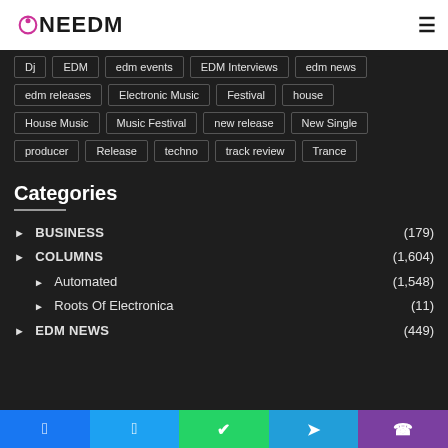OneEDM
Dj
EDM
edm events
EDM Interviews
edm news
edm releases
Electronic Music
Festival
house
House Music
Music Festival
new release
New Single
producer
Release
techno
track review
Trance
Categories
BUSINESS (179)
COLUMNS (1,604)
Automated (1,548)
Roots Of Electronica (11)
EDM NEWS (449)